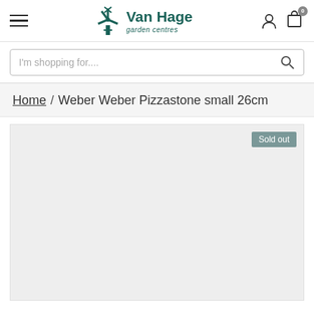Van Hage garden centres
I'm shopping for....
Home / Weber Weber Pizzastone small 26cm
[Figure (photo): Product image area showing a light grey empty placeholder with a 'Sold out' badge in the top right corner]